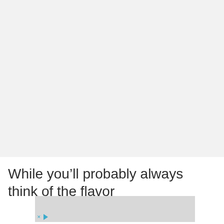ADVERTISEMENT
[Figure (other): Large advertisement placeholder area with light gray background]
While you’ll probably always think of the flavor
[Figure (other): Inline advertisement placeholder with gray background and close/play controls]